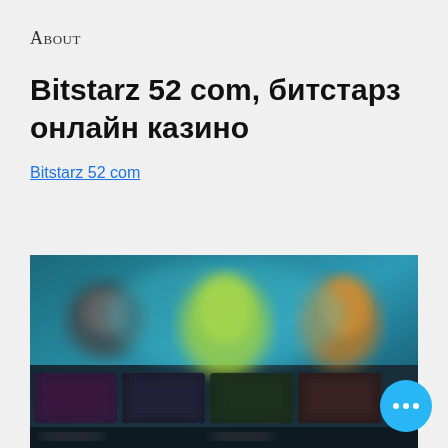About
Bitstarz 52 com, битстарз онлайн казино
Bitstarz 52 com
[Figure (screenshot): Blurred screenshot of an online casino website (Bitstarz) showing game thumbnails and interface elements in dark blue/teal colors]